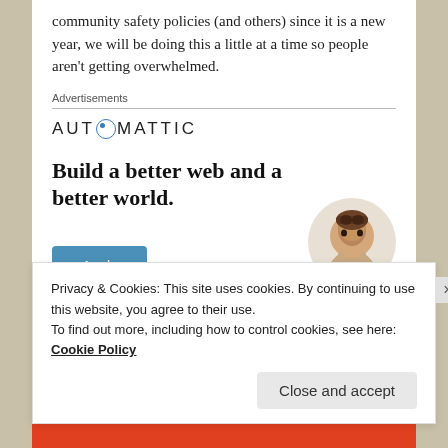community safety policies (and others) since it is a new year, we will be doing this a little at a time so people aren't getting overwhelmed.
Advertisements
[Figure (screenshot): Automattic advertisement showing the logo with a compass-style letter O, headline 'Build a better web and a better world.', a blue Apply button, and a circular photo of a person thinking.]
Privacy & Cookies: This site uses cookies. By continuing to use this website, you agree to their use. To find out more, including how to control cookies, see here: Cookie Policy
Close and accept